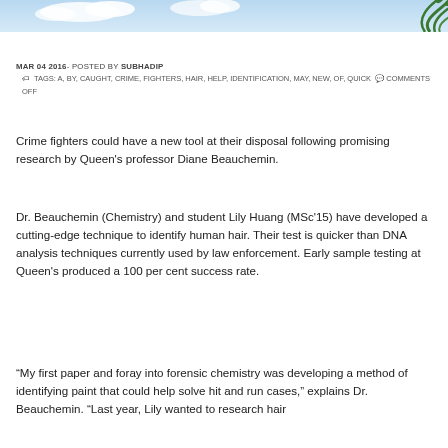[Figure (photo): A decorative header image showing a blue sky with palm tree leaves in the top right corner.]
MAR 04 2016- POSTED BY SUBHADIP
🏷 TAGS: A, BY, CAUGHT, CRIME, FIGHTERS, HAIR, HELP, IDENTIFICATION, MAY, NEW, OF, QUICK 💬 COMMENTS OFF
Crime fighters could have a new tool at their disposal following promising research by Queen's professor Diane Beauchemin.
Dr. Beauchemin (Chemistry) and student Lily Huang (MSc'15) have developed a cutting-edge technique to identify human hair. Their test is quicker than DNA analysis techniques currently used by law enforcement. Early sample testing at Queen's produced a 100 per cent success rate.
“My first paper and foray into forensic chemistry was developing a method of identifying paint that could help solve hit and run cases,” explains Dr. Beauchemin. “Last year, Lily wanted to research hair